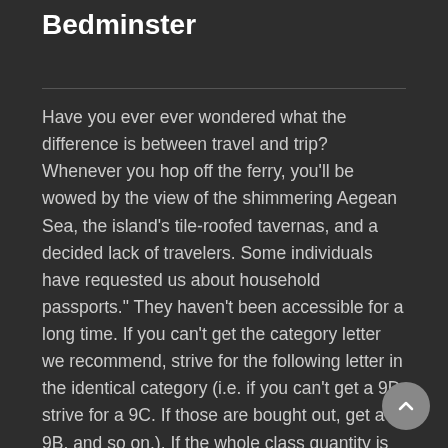Bedminster
Have you ever ever wondered what the difference is between travel and trip? Whenever you hop off the ferry, you'll be wowed by the view of the shimmering Aegean Sea, the island's tile-roofed tavernas, and a decided lack of travelers. Some individuals have requested us about household passports.” They haven’t been accessible for a long time. If you can’t get the category letter we recommend, strive for the following letter in the identical category (i.e. if you can’t get a 9D, strive for a 9C. If those are bought out, get a 9B, and so on.). If the whole class quantity is offered out, test our suggestions before reserving the subsequent higher number.